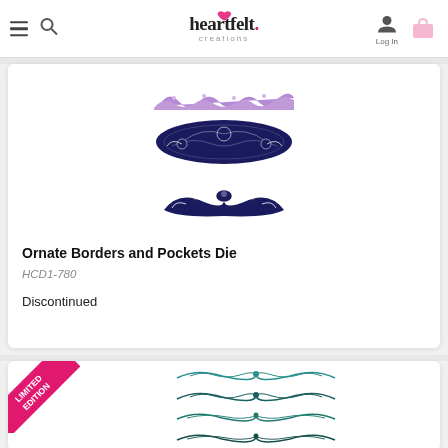heartfelt creations — Log In — navigation header
[Figure (illustration): Ornate purple lace border die cut and two dark navy decorative ornamental border die cuts shown on white background]
Ornate Borders and Pockets Die
HCD1-780
Discontinued
[Figure (illustration): LIMITED EDITION badge in pink diagonal banner, with four ornamental teal/dark teal wave border die cuts shown]